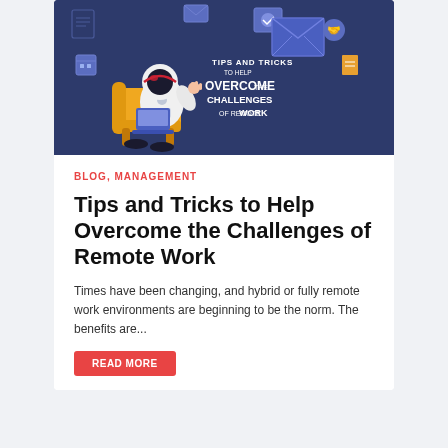[Figure (illustration): Blog post hero banner with dark navy background, an illustrated astronaut sitting in a yellow chair using a laptop, surrounded by floating communication/document icons, with text: TIPS AND TRICKS to help OVERCOME the CHALLENGES of remote WORK]
BLOG, MANAGEMENT
Tips and Tricks to Help Overcome the Challenges of Remote Work
Times have been changing, and hybrid or fully remote work environments are beginning to be the norm. The benefits are...